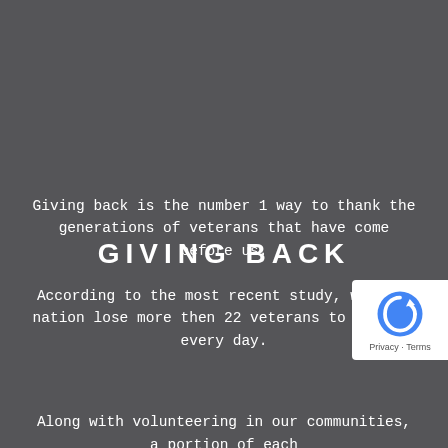GIVING BACK
Giving back is the number 1 way to thank the generations of veterans that have come before us.
According to the most recent study, we as a nation lose more then 22 veterans to suicide every day.
Along with volunteering in our communities, a portion of each